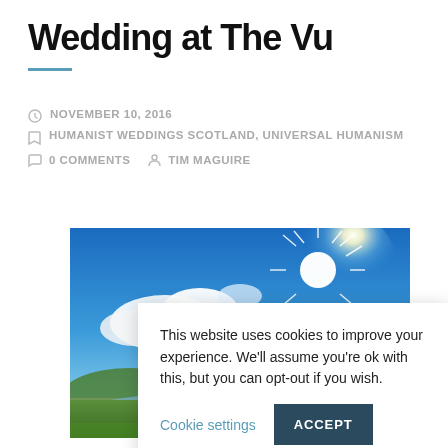Wedding at The Vu
NOVEMBER 10, 2016
HUMANIST WEDDINGS SCOTLAND, UNIVERSAL HUMANISM
0 COMMENTS   TIM MAGUIRE
[Figure (photo): Outdoor landscape photo with bright blue sky, sun flare, white clouds, green fields, and a lake or loch in the foreground]
This website uses cookies to improve your experience. We'll assume you're ok with this, but you can opt-out if you wish.  Cookie settings  ACCEPT